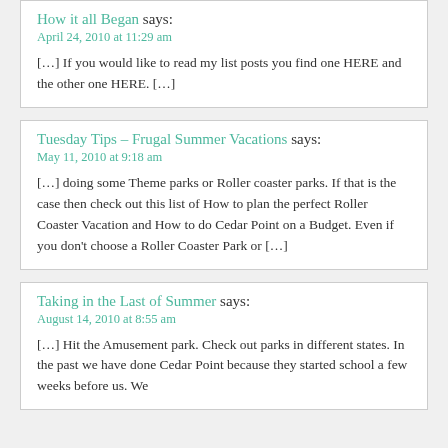How it all Began says:
April 24, 2010 at 11:29 am
[…] If you would like to read my list posts you find one HERE and the other one HERE. […]
Tuesday Tips – Frugal Summer Vacations says:
May 11, 2010 at 9:18 am
[…] doing some Theme parks or Roller coaster parks.  If that is the case then check out this list of How to plan the perfect Roller Coaster Vacation and  How to do Cedar Point on a Budget.  Even if you don't choose a Roller Coaster Park or […]
Taking in the Last of Summer says:
August 14, 2010 at 8:55 am
[…] Hit the Amusement park.  Check out parks in different states. In the past we have done Cedar Point because they started school a few weeks before us.  We